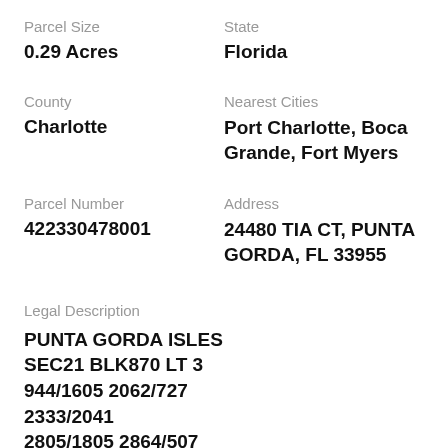Parcel Size
State
0.29 Acres
Florida
County
Nearest Cities
Charlotte
Port Charlotte, Boca Grande, Fort Myers
Parcel Number
Address
422330478001
24480 TIA CT, PUNTA GORDA, FL 33955
Legal Description
PUNTA GORDA ISLES SEC21 BLK870 LT 3 944/1605 2062/727 2333/2041 2805/1805 2864/507